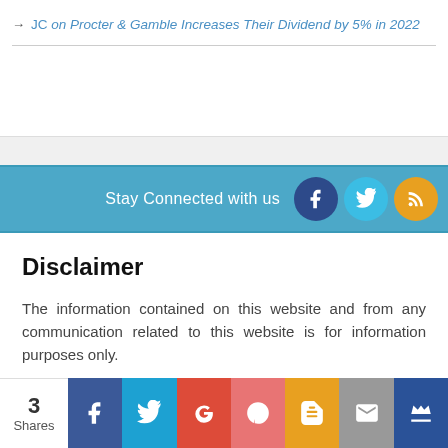→ JC on Procter & Gamble Increases Their Dividend by 5% in 2022
[Figure (infographic): Blue social bar with 'Stay Connected with us' text and Facebook, Twitter, RSS icons]
Disclaimer
The information contained on this website and from any communication related to this website is for information purposes only.
The material on this website does not constitute advice and you should not rely on any material in this website to make (or refrain
[Figure (infographic): Share bar showing 3 Shares with Facebook, Twitter, Google+, Pinterest, Blogger, Email, and crown icon buttons]